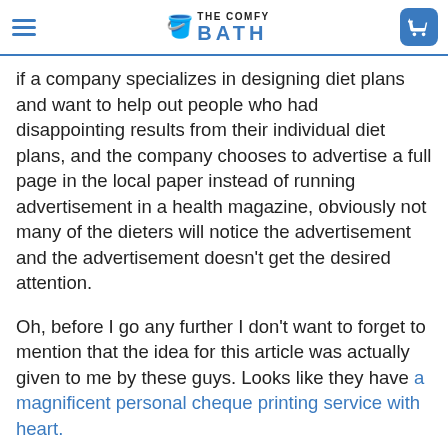THE COMFY BATH
if a company specializes in designing diet plans and want to help out people who had disappointing results from their individual diet plans, and the company chooses to advertise a full page in the local paper instead of running advertisement in a health magazine, obviously not many of the dieters will notice the advertisement and the advertisement doesn't get the desired attention.
Oh, before I go any further I don't want to forget to mention that the idea for this article was actually given to me by these guys. Looks like they have a magnificent personal cheque printing service with heart.
So the point is to come up with the best campaign, which will increase the probability of the ad getting viewed and the right customers trying to buy the